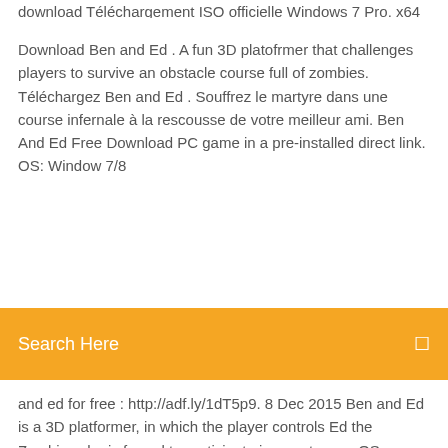download Téléchargement ISO officielle Windows 7 Pro. x64 ...
Download Ben and Ed . A fun 3D platofrmer that challenges players to survive an obstacle course full of zombies. Téléchargez Ben and Ed . Souffrez le martyre dans une course infernale à la rescousse de votre meilleur ami. Ben And Ed Free Download PC game in a pre-installed direct link. OS: Window 7/8
[Figure (screenshot): Orange search bar with white text 'Search Here' and a search icon on the right]
and ed for free : http://adf.ly/1dT5p9. 8 Dec 2015 Ben and Ed is a 3D platformer, in which the player controls Ed the Zombie, who is forced to participate in a grotesque OS: Window 7/8 32-bit
télécharger windows 10 gratuit (windows) télécharger windows 10 windows, windows 10 windows, windows 10 windows télécharger gratuit windows 7 edition familiale premium gratuit - Logitheque.com Windows 7 Professionnel N inclut les